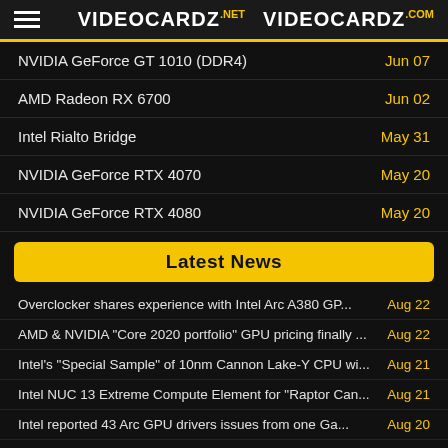VIDEOCARDZ.NET  VIDEOCARDZ.COM
NVIDIA GeForce GT 1010 (DDR4)
AMD Radeon RX 6700
Intel Rialto Bridge
NVIDIA GeForce RTX 4070
NVIDIA GeForce RTX 4080
Latest News
Overclocker shares experience with Intel Arc A380 GP...
AMD & NVIDIA "Core 2020 portfolio" GPU pricing finally ...
Intel's "Special Sample" of 10nm Cannon Lake-Y CPU wi...
Intel NUC 13 Extreme Compute Element for "Raptor Can...
Intel reported 43 Arc GPU drivers issues from one Ga...
Intel Meteor Lake iGPU might support ray tracing accel...
Intel 13th Gen Core "Raptor Lake-S" lineup leaks out, 4 ...
Alphacool says all their coolers are ready for AMD Ryz...
Gigabyte teases AORUS Gen5 SSD 10000 reaching up ...
Intel Core i9-13900KF CPU reaches 6.18 GHz with liqui...